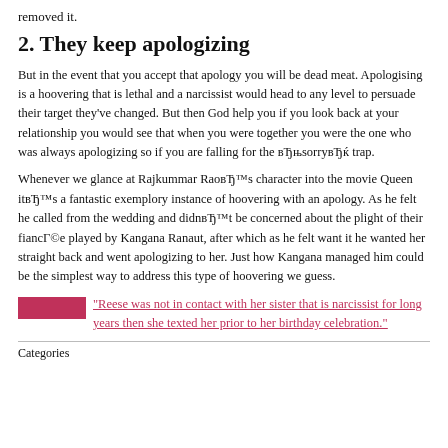removed it.
2. They keep apologizing
But in the event that you accept that apology you will be dead meat. Apologising is a hoovering that is lethal and a narcissist would head to any level to persuade their target they've changed. But then God help you if you look back at your relationship you would see that when you were together you were the one who was always apologizing so if you are falling for the вЂњsorryвЂќ trap.
Whenever we glance at Rajkummar RaoвЂ™s character into the movie Queen itвЂ™s a fantastic exemplory instance of hoovering with an apology. As he felt he called from the wedding and didnвЂ™t be concerned about the plight of their fiancГ©e played by Kangana Ranaut, after which as he felt want it he wanted her straight back and went apologizing to her. Just how Kangana managed him could be the simplest way to address this type of hoovering we guess.
“Reese was not in contact with her sister that is narcissist for long years then she texted her prior to her birthday celebration.”
Categories